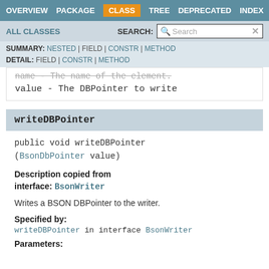OVERVIEW  PACKAGE  CLASS  TREE  DEPRECATED  INDEX
ALL CLASSES   SEARCH:
SUMMARY: NESTED | FIELD | CONSTR | METHOD  DETAIL: FIELD | CONSTR | METHOD
name - The name of the element.
value - The DBPointer to write
writeDBPointer
public void writeDBPointer(BsonDbPointer value)
Description copied from interface: BsonWriter
Writes a BSON DBPointer to the writer.
Specified by:
writeDBPointer in interface BsonWriter
Parameters: